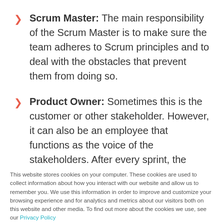Scrum Master: The main responsibility of the Scrum Master is to make sure the team adheres to Scrum principles and to deal with the obstacles that prevent them from doing so.
Product Owner: Sometimes this is the customer or other stakeholder. However, it can also be an employee that functions as the voice of the stakeholders. After every sprint, the Product Owner
This website stores cookies on your computer. These cookies are used to collect information about how you interact with our website and allow us to remember you. We use this information in order to improve and customize your browsing experience and for analytics and metrics about our visitors both on this website and other media. To find out more about the cookies we use, see our Privacy Policy